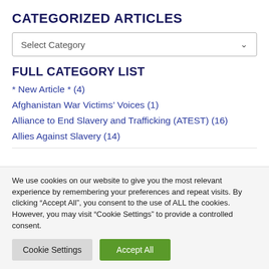CATEGORIZED ARTICLES
Select Category
FULL CATEGORY LIST
* New Article * (4)
Afghanistan War Victims' Voices (1)
Alliance to End Slavery and Trafficking (ATEST) (16)
Allies Against Slavery (14)
We use cookies on our website to give you the most relevant experience by remembering your preferences and repeat visits. By clicking “Accept All”, you consent to the use of ALL the cookies. However, you may visit “Cookie Settings” to provide a controlled consent.
Cookie Settings | Accept All